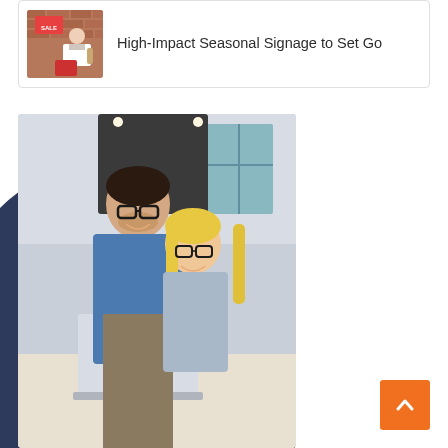[Figure (photo): Card with thumbnail image of a woman holding a sign in a store, next to the title text 'High-Impact Seasonal Signage to Set Go']
High-Impact Seasonal Signage to Set Go
[Figure (photo): Two professionals, a smiling man and a smiling blonde woman, working together at a laptop in a modern office/cafe setting. The image is overlaid on a dark navy curved background shape.]
[Figure (other): Orange square button with a white upward-pointing chevron arrow (back to top button)]